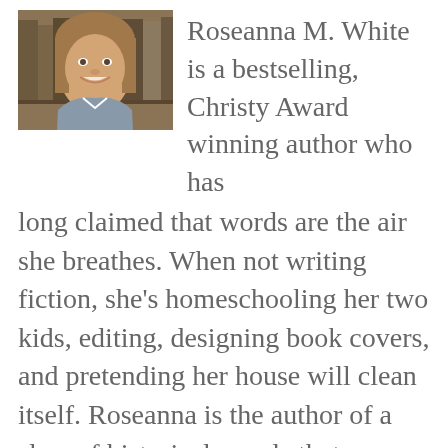[Figure (photo): Headshot photo of a smiling woman with long brown hair, in front of bookshelves]
Roseanna M. White is a bestselling, Christy Award winning author who has long claimed that words are the air she breathes. When not writing fiction, she's homeschooling her two kids, editing, designing book covers, and pretending her house will clean itself. Roseanna is the author of a slew of historical novels that span several continents and centuries...